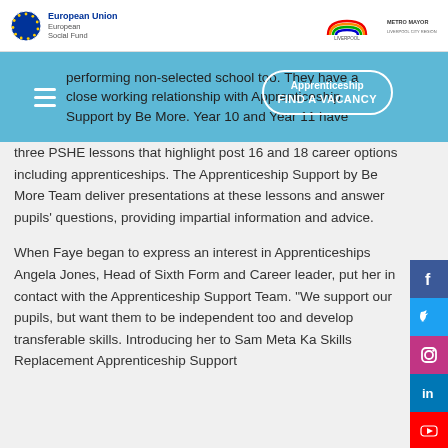European Union European Social Fund
performing non-selected school too. They have a close working relationship with Apprenticeship Support by Be More. Year 10 and Year 11 have three PSHE lessons that highlight post 16 and 18 career options including apprenticeships. The Apprenticeship Support by Be More Team deliver presentations at these lessons and answer pupils' questions, providing impartial information and advice.
When Faye began to express an interest in Apprenticeships Angela Jones, Head of Sixth Form and Career leader, put her in contact with the Apprenticeship Support Team. “We support our pupils, but want them to be independent too and develop transferable skills. Introducing her to Sam Meta Ka Skills Replacement Apprenticeship Support